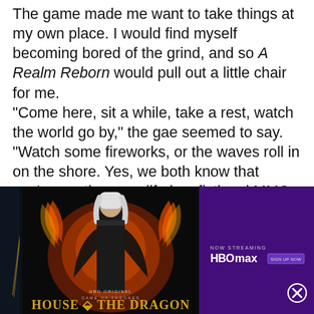The game made me want to take things at my own place. I would find myself becoming bored of the grind, and so A Realm Reborn would pull out a little chair for me. “Come here, sit a while, take a rest, watch the world go by,” the gae seemed to say. “Watch some fireworks, or the waves roll in on the shore. Yes, we both know that you’re wasting your life in a fictional MMO, but you really want to go outside? We both know that ain’t happening.”
[Figure (screenshot): HBO Max advertisement for House of the Dragon. Shows a white-haired character surrounded by fire on a dark background. Right panel shows purple background with 'NOW STREAMING HBO max' text and a 'SIGN UP NOW' button. Bottom shows 'HBO ORIGINAL GAME OF THRONES HOUSE OF THE DRAGON' title text in gold.]